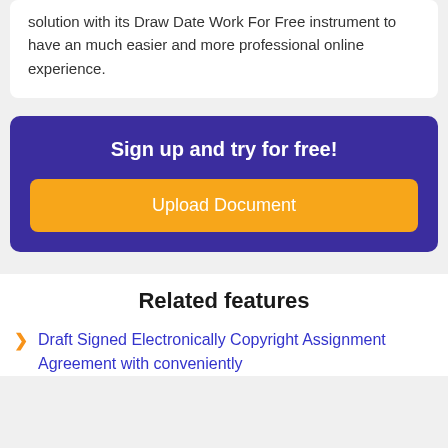solution with its Draw Date Work For Free instrument to have an much easier and more professional online experience.
Sign up and try for free!
[Figure (other): Orange button labeled 'Upload Document' inside a purple call-to-action box]
Related features
Draft Signed Electronically Copyright Assignment Agreement with conveniently